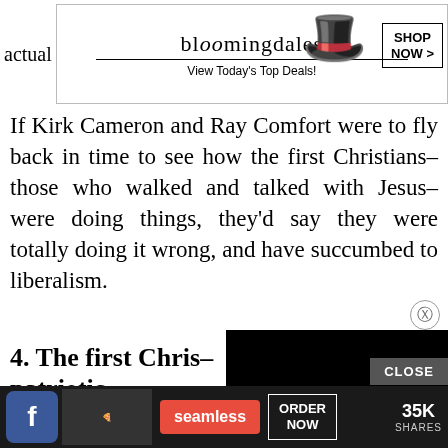[Figure (other): Bloomingdales advertisement banner with hat photo, 'View Today's Top Deals!' text and 'SHOP NOW >' button. Partial word 'actual' visible on left.]
If Kirk Cameron and Ray Comfort were to fly back in time to see how the first Christians– those who walked and talked with Jesus– were doing things, they'd say they were totally doing it wrong, and have succumbed to liberalism.
4. The first Christians were not patriotic.
[Figure (other): Black video loading overlay with circular spinner/loading indicator in white]
Flag-waving Fourth of July type services.
Not in the early church. The first Christians
[Figure (other): Bottom advertisement bar: Facebook icon, pizza image, Seamless logo in red, ORDER NOW button, 35K SHARES count]